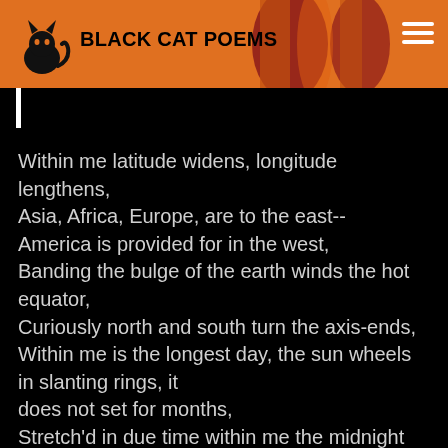BLACK CAT POEMS
Within me latitude widens, longitude lengthens,
Asia, Africa, Europe, are to the east--
America is provided for in the west,
Banding the bulge of the earth winds the hot equator,
Curiously north and south turn the axis-ends,
Within me is the longest day, the sun wheels in slanting rings, it
does not set for months,
Stretch'd in due time within me the midnight sun just rises above
the horizon and sinks again,
Within me zones, seas, cataracts, forests, volcanoes, groups,
Malaysia, Polynesia, and the great West